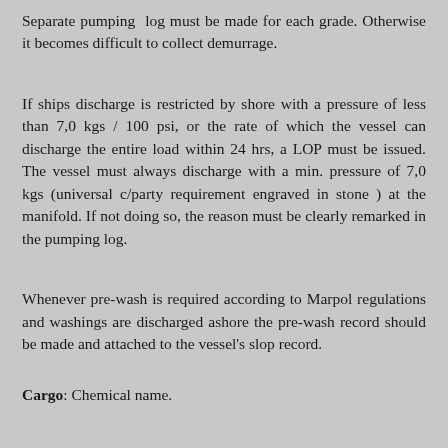Separate pumping log must be made for each grade. Otherwise it becomes difficult to collect demurrage.
If ships discharge is restricted by shore with a pressure of less than 7,0 kgs / 100 psi, or the rate of which the vessel can discharge the entire load within 24 hrs, a LOP must be issued. The vessel must always discharge with a min. pressure of 7,0 kgs (universal c/party requirement engraved in stone ) at the manifold. If not doing so, the reason must be clearly remarked in the pumping log.
Whenever pre-wash is required according to Marpol regulations and washings are discharged ashore the pre-wash record should be made and attached to the vessel's slop record.
Cargo: Chemical name.